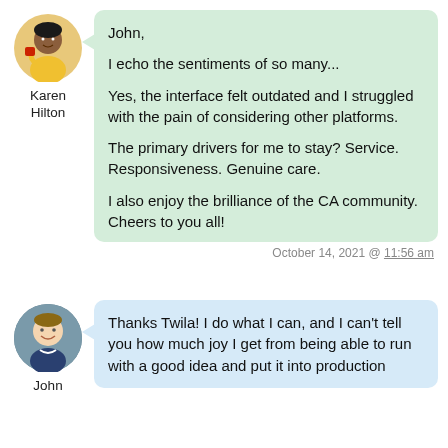[Figure (illustration): Avatar of Karen Hilton, a woman in a yellow top]
Karen
Hilton
John,

I echo the sentiments of so many...

Yes, the interface felt outdated and I struggled with the pain of considering other platforms.

The primary drivers for me to stay? Service. Responsiveness. Genuine care.

I also enjoy the brilliance of the CA community. Cheers to you all!
October 14, 2021 @ 11:56 am
[Figure (photo): Avatar of John, a smiling man]
John
Thanks Twila! I do what I can, and I can't tell you how much joy I get from being able to run with a good idea and put it into production